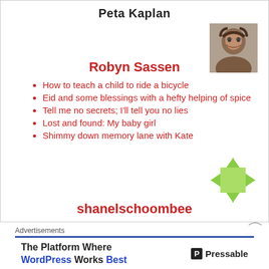Peta Kaplan
[Figure (photo): Profile photo of a person with dark hair and glasses]
Robyn Sassen
How to teach a child to ride a bicycle
Eid and some blessings with a hefty helping of spice
Tell me no secrets; I'll tell you no lies
Lost and found: My baby girl
Shimmy down memory lane with Kate
[Figure (other): Move/drag icon — green cross with arrows]
shanelschoombee
Advertisements
The Platform Where WordPress Works Best — Pressable